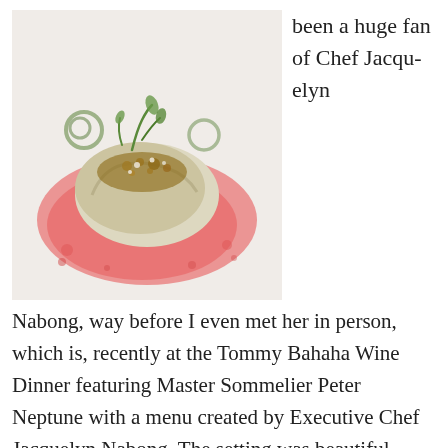[Figure (photo): A plated dish featuring what appears to be a dumpling or wrapped item on a pink/red sauce, garnished with herbs and crumbled toppings, presented on a white plate.]
been a huge fan of Chef Jacquelyn Nabong, way before I even met her in person, which is, recently at the Tommy Bahaha Wine Dinner featuring Master Sommelier Peter Neptune with a menu created by Executive Chef Jacquelyn Nabong. The setting was beautiful, with community tables set up on the outside patio. The weather [...]
AMERICAN, ASIAN, CALIFORNIAN, FUSION, HAWAIIAN, NEWPORT BEACH CA